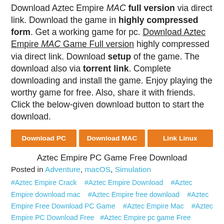Download Aztec Empire MAC full version via direct link. Download the game in highly compressed form. Get a working game for pc. Download Aztec Empire MAC Game Full version highly compressed via direct link. Download setup of the game. The download also via torrent link. Complete downloading and install the game. Enjoy playing the worthy game for free. Also, share it with friends. Click the below-given download button to start the download.
[Figure (other): Three orange download buttons labeled Download PC, Download MAC, and Link Linux]
Aztec Empire PC Game Free Download
Posted in Adventure, macOS, Simulation
#Aztec Empire Crack   #Aztec Empire Download   #Aztec Empire download mac   #Aztec Empire free download   #Aztec Empire Free Download PC Game   #Aztec Empire Mac   #Aztec Empire PC Download Free   #Aztec Empire pc game Free Download   #Aztec Empire Skidrow